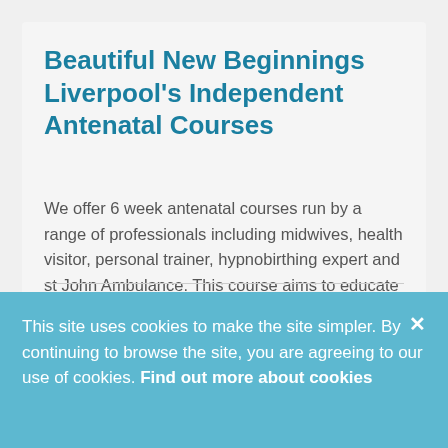Beautiful New Beginnings Liverpool's Independent Antenatal Courses
We offer 6 week antenatal courses run by a range of professionals including midwives, health visitor, personal trainer, hypnobirthing expert and st John Ambulance. This course aims to educate and support parents to be along each step of their journey to parenthood and bring a...
This site uses cookies to make the site simpler. By continuing to browse the site, you are agreeing to our use of cookies. Find out more about cookies